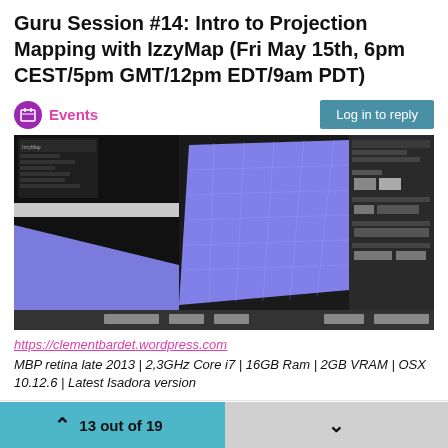Guru Session #14: Intro to Projection Mapping with IzzyMap (Fri May 15th, 6pm CEST/5pm GMT/12pm EDT/9am PDT)
Events
[Figure (screenshot): Screenshot of IzzyMap projection mapping software showing a grid-mapped trapezoid surface on a dark background with UI panels]
https://clementbardet.wordpress.com
MBP retina late 2013 | 2,3GHz Core i7 | 16GB Ram | 2GB VRAM | OSX 10.12.6 | Latest Isadora version
1 Reply ›
Woland TECH STAFF
Jun 5, 2020, 1:50 PM
13 out of 19